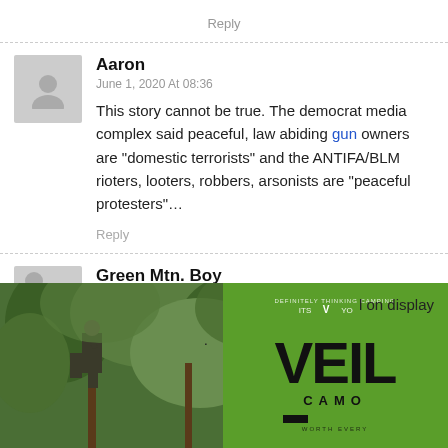Reply
Aaron
June 1, 2020 At 08:36
This story cannot be true. The democrat media complex said peaceful, law abiding gun owners are “domestic terrorists” and the ANTIFA/BLM rioters, looters, robbers, arsonists are “peaceful protesters”…
Reply
Green Mtn. Boy
June 1, 2020 At 08:40
[Figure (photo): Person in camouflage climbing a tree in a forest setting]
[Figure (logo): VEIL CAMO brand logo on green background]
l on display